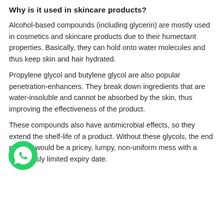Why is it used in skincare products?
Alcohol-based compounds (including glycerin) are mostly used in cosmetics and skincare products due to their humectant properties. Basically, they can hold onto water molecules and thus keep skin and hair hydrated.
Propylene glycol and butylene glycol are also popular penetration-enhancers. They break down ingredients that are water-insoluble and cannot be absorbed by the skin, thus improving the effectiveness of the product.
[Figure (logo): WhatsApp logo — green circle with white phone handset icon]
These compounds also have antimicrobial effects, so they extend the shelf-life of a product. Without these glycols, the end product would be a pricey, lumpy, non-uniform mess with a ridiculously limited expiry date.